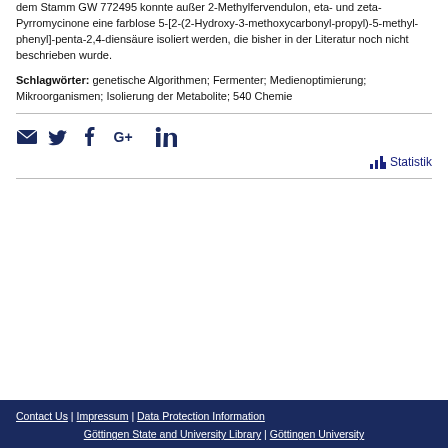dem Stamm GW 772495 konnte außer 2-Methylfervendulon, eta- und zeta-Pyrromycinone eine farblose 5-[2-(2-Hydroxy-3-methoxycarbonyl-propyl)-5-methyl-phenyl]-penta-2,4-diensäure isoliert werden, die bisher in der Literatur noch nicht beschrieben wurde.
Schlagwörter: genetische Algorithmen; Fermenter; Medienoptimierung; Mikroorganismen; Isolierung der Metabolite; 540 Chemie
[Figure (illustration): Social media share icons: email envelope, Twitter bird, Facebook f, Google+, LinkedIn in]
Statistik
Contact Us | Impressum | Data Protection Information
Göttingen State and University Library | Göttingen University